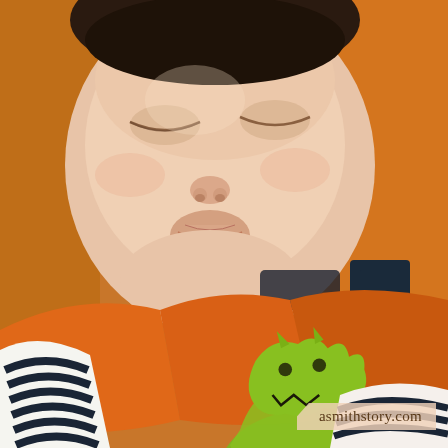[Figure (photo): Close-up photo of a sleeping newborn baby wearing an orange onesie with a green dinosaur/monster applique and a navy-and-white striped long-sleeve undershirt. The baby is being held by an adult wearing an orange fleece jacket with dark lettering. The baby's face is peaceful and eyes are closed.]
asmithstory.com